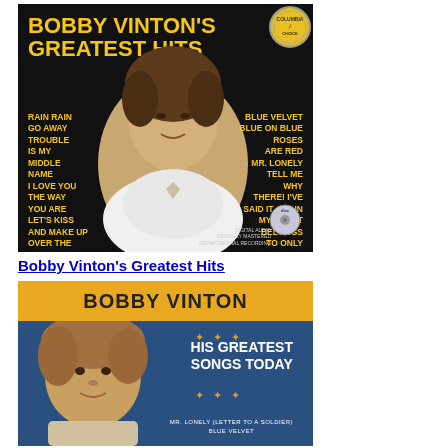[Figure (photo): Album cover for Bobby Vinton's Greatest Hits. Black background with yellow bold text listing song titles on left and right sides. Bobby Vinton's photo in center. Gold badge in top right corner. CD logo at bottom right.]
Bobby Vinton's Greatest Hits
[Figure (photo): Album cover for Bobby Vinton - His Greatest Songs Today. Blue background with yellow/gold top banner showing artist name. Bobby Vinton's face photo on left. White bold text on right: HIS GREATEST SONGS TODAY with decorative dots. Track listing at bottom: MR. LONELY (LETTER TO A SOLDIER), BLUE VELVET.]